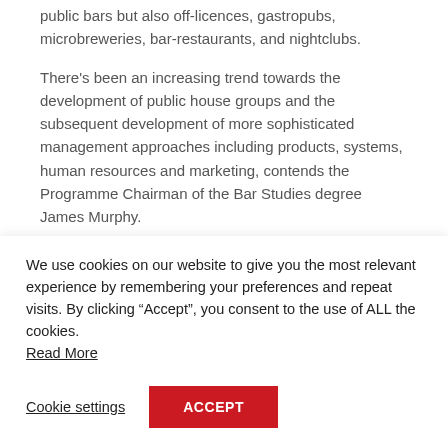public bars but also off-licences, gastropubs, microbreweries, bar-restaurants, and nightclubs.
There's been an increasing trend towards the development of public house groups and the subsequent development of more sophisticated management approaches including products, systems, human resources and marketing, contends the Programme Chairman of the Bar Studies degree James Murphy.
Another major development has been the
We use cookies on our website to give you the most relevant experience by remembering your preferences and repeat visits. By clicking “Accept”, you consent to the use of ALL the cookies. Read More
Cookie settings
ACCEPT